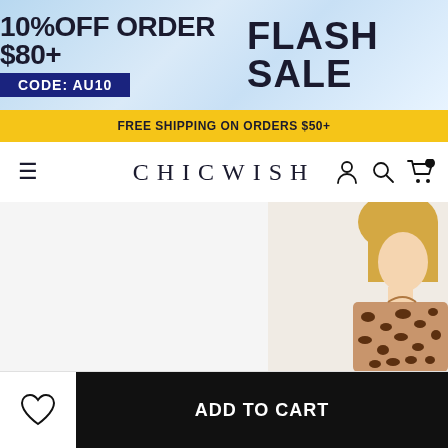[Figure (screenshot): Flash sale promotional banner with '10% OFF ORDER $80+' text, 'CODE: AU10' in navy box, and 'FLASH SALE' in large bold text on light blue background]
FREE SHIPPING ON ORDERS $50+
CHICWISH
[Figure (photo): Product photo showing a model wearing a leopard print coat/jacket, partially visible on the right side of the image]
ADD TO CART